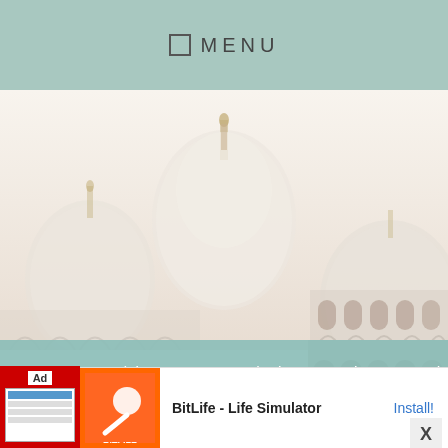☐ MENU
[Figure (photo): White mosque domes (Sheikh Zayed Grand Mosque style) with golden finials against a pale, hazy sky. Ornate white arched colonnades visible at the base. Faded, high-key photograph.]
We use cookies on our website to give you the most relevant experience by remembering your preferences and repeat visits. By clicking "Accept", you consent to the use of ALL the cookies.
Settings
Accept
[Figure (photo): Close-up of a cobblestone or brick patterned surface, bluish-grey tones.]
[Figure (screenshot): Advertisement banner: BitLife - Life Simulator app ad with red/orange background and install button.]
BitLife - Life Simulator
Install!